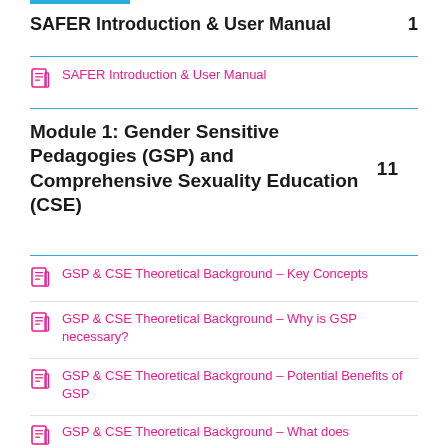SAFER Introduction & User Manual 1
SAFER Introduction & User Manual
Module 1: Gender Sensitive Pedagogies (GSP) and Comprehensive Sexuality Education (CSE) 11
GSP & CSE Theoretical Background – Key Concepts
GSP & CSE Theoretical Background – Why is GSP necessary?
GSP & CSE Theoretical Background – Potential Benefits of GSP
GSP & CSE Theoretical Background – What does